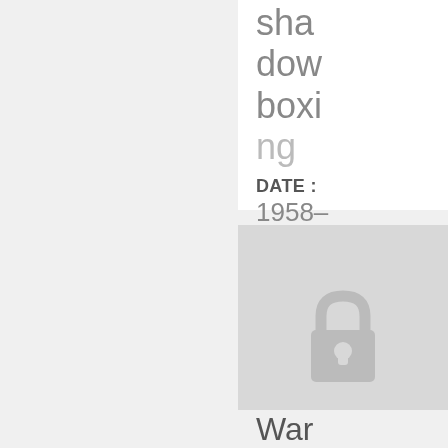shadowboxing
DATE : 1958-03-05
[Figure (illustration): A padlock icon on a grey background, indicating restricted/locked content]
War